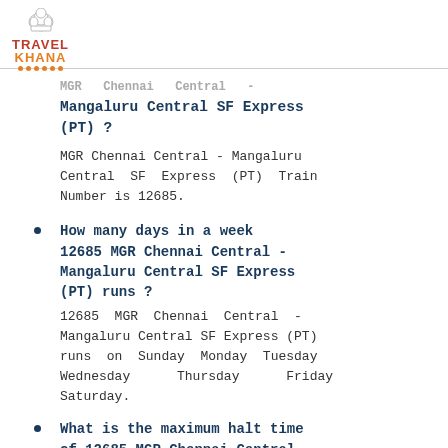[Figure (logo): Travel Khana logo with chef hat icon, red TRAVEL text, orange KHANA text, and orange dots underline]
MGR Chennai Central - Mangaluru Central SF Express (PT) ?
MGR Chennai Central - Mangaluru Central SF Express (PT) Train Number is 12685.
How many days in a week 12685 MGR Chennai Central - Mangaluru Central SF Express (PT) runs ?
12685 MGR Chennai Central - Mangaluru Central SF Express (PT) runs on Sunday Monday Tuesday Wednesday Thursday Friday Saturday.
What is the maximum halt time of 12685 MGR Chennai Central - Mangaluru Central SF Express (PT) and at which station ?
Maximum halt time of 12685 MGR